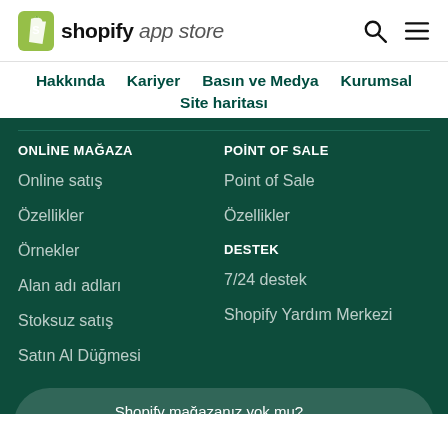shopify app store
Hakkında
Kariyer
Basın ve Medya
Kurumsal
Site haritası
ONLİNE MAĞAZA
Online satış
Özellikler
Örnekler
Alan adı adları
Stoksuz satış
Satın Al Düğmesi
POİNT OF SALE
Point of Sale
Özellikler
DESTEK
7/24 destek
Shopify Yardım Merkezi
Shopify mağazanız yok mu? Ücretsiz denemenizi başlatın →
Logo Oluşturucu
Ücretsiz araçlar